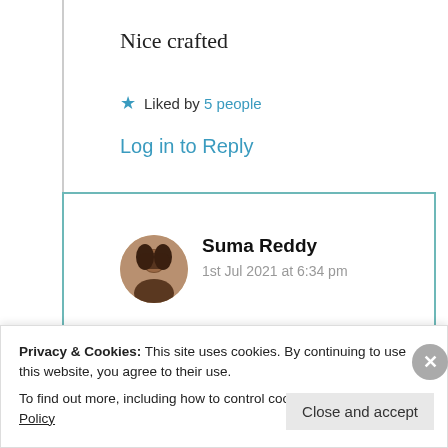Nice crafted
★ Liked by 5 people
Log in to Reply
[Figure (photo): Round avatar photo of Suma Reddy, a woman with dark hair]
Suma Reddy
1st Jul 2021 at 6:34 pm
Hi Sanjay, glad to see you after a long
Privacy & Cookies: This site uses cookies. By continuing to use this website, you agree to their use.
To find out more, including how to control cookies, see here: Cookie Policy
Close and accept